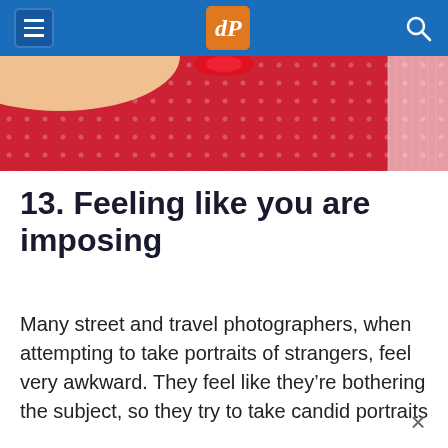dPS (Digital Photography School) navigation header
[Figure (photo): Partial view of a person wearing a red polka-dot dress with white lace sleeves, arms outstretched, cropped to show torso area only]
13. Feeling like you are imposing
Many street and travel photographers, when attempting to take portraits of strangers, feel very awkward. They feel like they're bothering the subject, so they try to take candid portraits